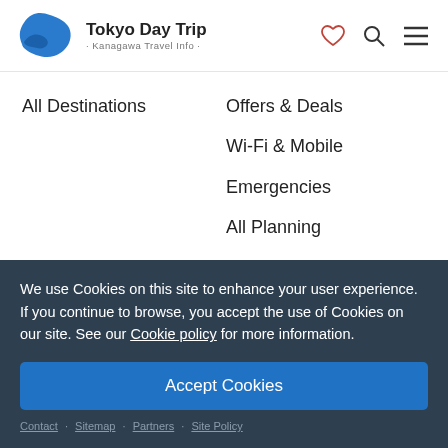Tokyo Day Trip · Kanagawa Travel Info ·
All Destinations
Offers & Deals
Wi-Fi & Mobile
Emergencies
All Planning
Follow Kanagawa
We use Cookies on this site to enhance your user experience. If you continue to browse, you accept the use of Cookies on our site. See our Cookie policy for more information.
Accept Cookies
Contact · Sitemap · Partners · Site Policy